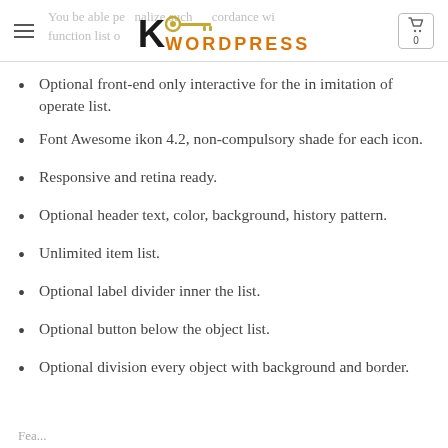K WORDPRESS — header navigation
Optional front-end only interactive for the in imitation of operate list.
Font Awesome ikon 4.2, non-compulsory shade for each icon.
Responsive and retina ready.
Optional header text, color, background, history pattern.
Unlimited item list.
Optional label divider inner the list.
Optional button below the object list.
Optional division every object with background and border.